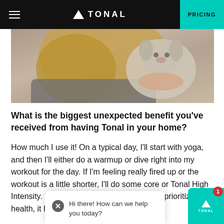TONAL — PRICING
[Figure (photo): A person with long blonde hair holding a small dog (chihuahua mix), close-up selfie style photo]
What is the biggest unexpected benefit you've received from having Tonal in your home?
How much I use it! On a typical day, I'll start with yoga, and then I'll either do a warmup or dive right into my workout for the day. If I'm feeling really fired up or the workout is a little shorter, I'll do some core or Tonal High Intensity. I...Coach Jared or Coach...he...prioritize my health, it helps me be at 100% for the